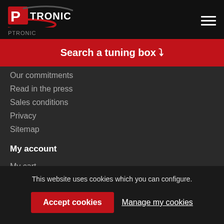[Figure (logo): Ptronic logo with red P and white TRONIC text on black background, with red swoosh]
PTRONIC
Search a tuning box ▼
Our commitments
Read in the press
Sales conditions
Privacy
Sitemap
My account
My cart
This website uses cookies which you can configure.
Accept cookies
Manage my cookies